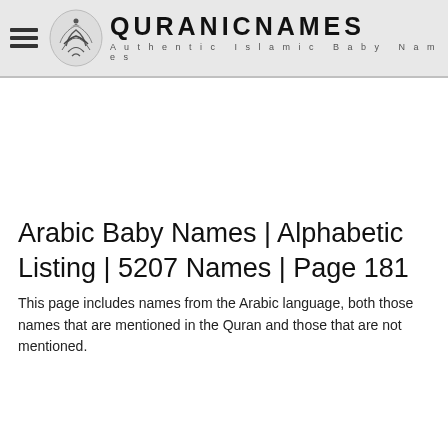QURANICNAMES — Authentic Islamic Baby Names
Arabic Baby Names | Alphabetic Listing | 5207 Names | Page 181
This page includes names from the Arabic language, both those names that are mentioned in the Quran and those that are not mentioned.